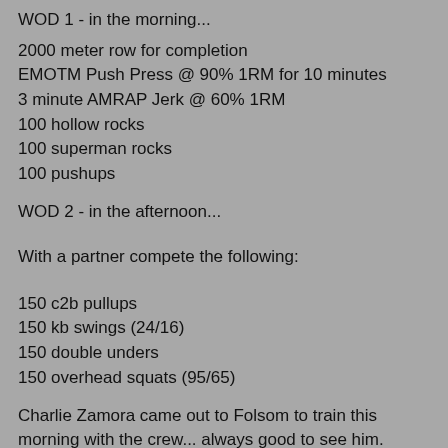WOD 1 - in the morning...
2000 meter row for completion
EMOTM Push Press @ 90% 1RM for 10 minutes
3 minute AMRAP Jerk @ 60% 1RM
100 hollow rocks
100 superman rocks
100 pushups
WOD 2 - in the afternoon...
With a partner compete the following:
150 c2b pullups
150 kb swings (24/16)
150 double unders
150 overhead squats (95/65)
Charlie Zamora came out to Folsom to train this morning with the crew... always good to see him.  Although he didn't much like the idea of hopping on the rower to warm up.  He's also pretty much convinced me that doing the Scottish Highland Games is a good idea next year.  Anything